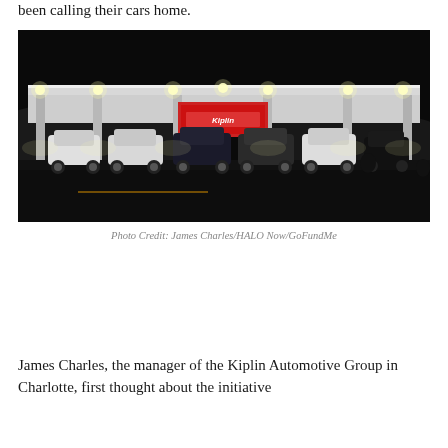been calling their cars home.
[Figure (photo): Night-time photograph of the Kiplin Automotive Group car dealership lot showing cars parked under a brightly lit canopy with a red sign, set against a dark sky.]
Photo Credit: James Charles/HALO Now/GoFundMe
James Charles, the manager of the Kiplin Automotive Group in Charlotte, first thought about the initiative